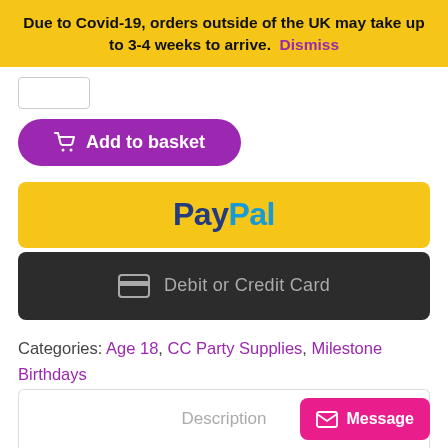Due to Covid-19, orders outside of the UK may take up to 3-4 weeks to arrive. Dismiss
[Figure (screenshot): Purple 'Add to basket' button with shopping cart icon]
[Figure (screenshot): Yellow PayPal payment button]
[Figure (screenshot): Dark 'Debit or Credit Card' payment button]
Categories: Age 18, CC Party Supplies, Milestone Birthdays
Description
[Figure (screenshot): Pink 'Message' button with envelope icon]